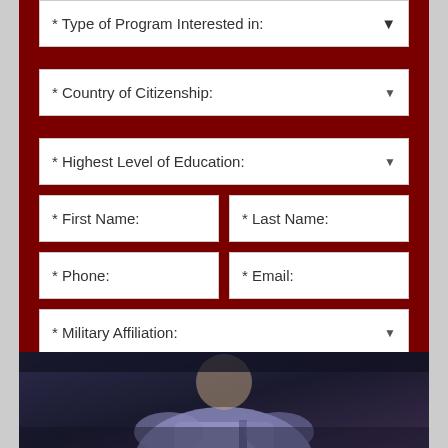* Type of Program Interested in:
* Country of Citizenship:
* Highest Level of Education:
* First Name:
* Last Name:
* Phone:
* Email:
* Military Affiliation:
Get More Info
[Figure (photo): Photo of a person in casual clothing, dark background, bottom portion of page]